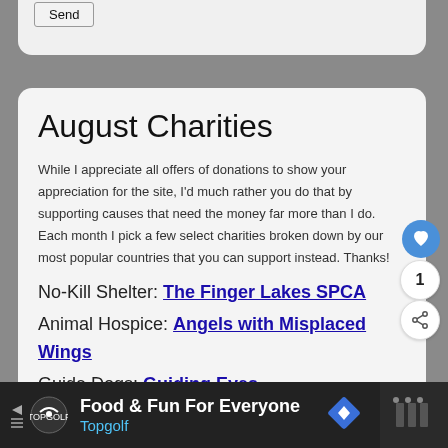[Figure (screenshot): Partial top card with Send button]
August Charities
While I appreciate all offers of donations to show your appreciation for the site, I'd much rather you do that by supporting causes that need the money far more than I do. Each month I pick a few select charities broken down by our most popular countries that you can support instead. Thanks!
No-Kill Shelter: The Finger Lakes SPCA
Animal Hospice: Angels with Misplaced Wings
Guide Dogs: Guiding Eyes
Trees: Archangel Ancient Tree Archive
[Figure (screenshot): Advertisement bar at bottom: Food & Fun For Everyone - Topgolf]